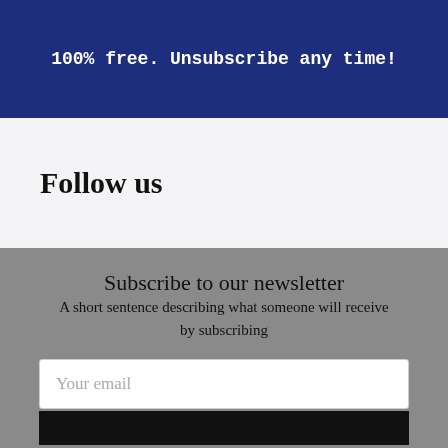100% free. Unsubscribe any time!
Follow us
Subscribe to our newsletter
A short sentence describing what someone will receive by subscribing
Your email